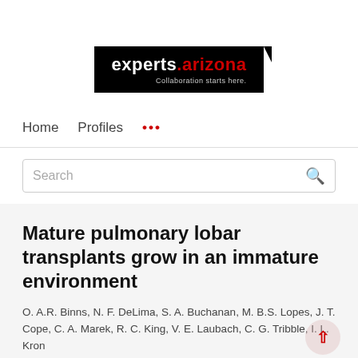[Figure (logo): experts.arizona logo — white text on black background with tagline 'Collaboration starts here.']
Home   Profiles   ...
Search
Mature pulmonary lobar transplants grow in an immature environment
O. A.R. Binns, N. F. DeLima, S. A. Buchanan, M. B.S. Lopes, J. T. Cope, C. A. Marek, R. C. King, V. E. Laubach, C. G. Tribble, I. L. Kron